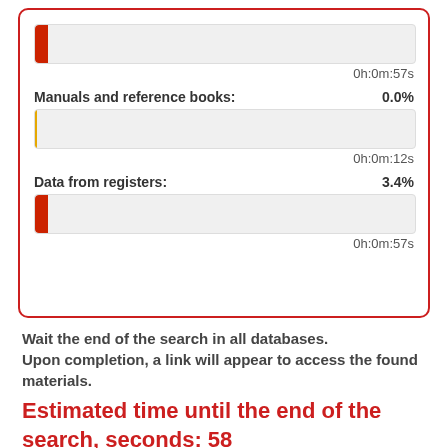[Figure (infographic): A bordered card with two progress bars showing database search progress. First visible bar: small red fill, time 0h:0m:57s. Second bar labeled 'Manuals and reference books:' at 0.0%, yellow/empty bar, time 0h:0m:12s. Third bar labeled 'Data from registers:' at 3.4%, small red fill, time 0h:0m:57s.]
Wait the end of the search in all databases. Upon completion, a link will appear to access the found materials.
Estimated time until the end of the search, seconds: 58